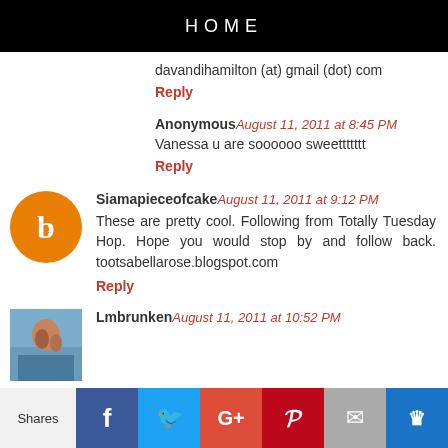HOME
davandihamilton (at) gmail (dot) com
Reply
Anonymous August 11, 2011 at 8:45 PM
Vanessa u are soooooo sweettttttt
Reply
Siamapieceofcake August 11, 2011 at 9:12 PM
These are pretty cool. Following from Totally Tuesday Hop. Hope you would stop by and follow back. tootsabellarose.blogspot.com
Reply
Lmbrunken August 11, 2011 at 10:52 PM